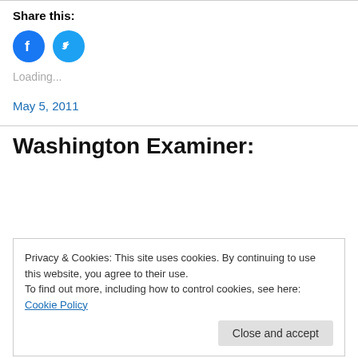Share this:
[Figure (illustration): Facebook and Twitter circular share icon buttons — Facebook (dark blue circle with 'f' icon) and Twitter (light blue circle with bird icon)]
Loading...
May 5, 2011
Washington Examiner:
Privacy & Cookies: This site uses cookies. By continuing to use this website, you agree to their use.
To find out more, including how to control cookies, see here: Cookie Policy
Close and accept
Borders